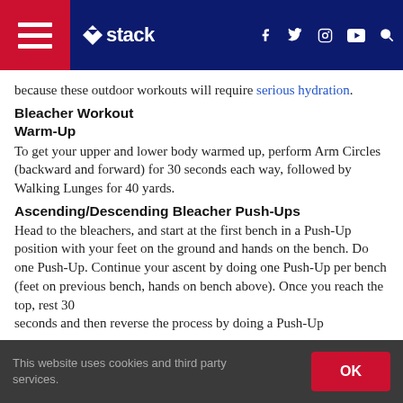stack
because these outdoor workouts will require serious hydration.
Bleacher Workout
Warm-Up
To get your upper and lower body warmed up, perform Arm Circles (backward and forward) for 30 seconds each way, followed by Walking Lunges for 40 yards.
Ascending/Descending Bleacher Push-Ups
Head to the bleachers, and start at the first bench in a Push-Up position with your feet on the ground and hands on the bench. Do one Push-Up. Continue your ascent by doing one Push-Up per bench (feet on previous bench, hands on bench above). Once you reach the top, rest 30 seconds and then reverse the process by doing a Push-Up...
This website uses cookies and third party services.